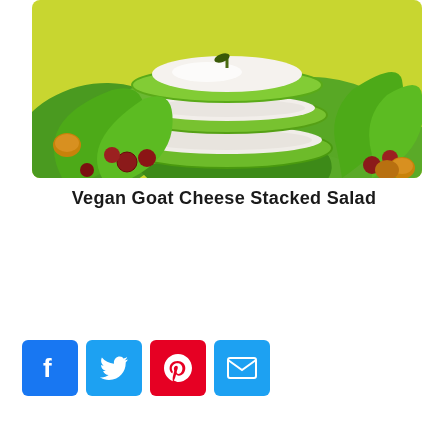[Figure (photo): A stacked salad made with layers of green apple slices and vegan goat cheese, garnished with lettuce leaves, dried cranberries, and nuts on a bright green background.]
Vegan Goat Cheese Stacked Salad
[Figure (infographic): Row of four social media share buttons: Facebook (blue), Twitter (blue), Pinterest (red), Email (blue)]